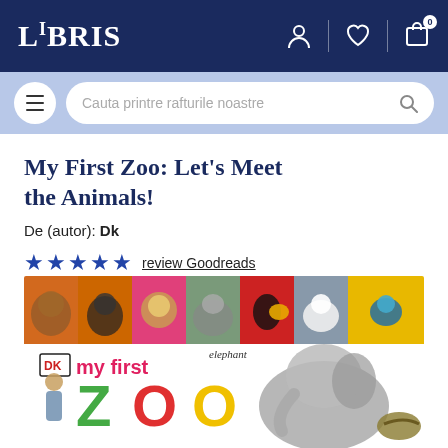LIBRIS
Cauta printre rafturile noastre
My First Zoo: Let's Meet the Animals!
De (autor): Dk
★★★★★ review Goodreads
[Figure (photo): Book cover of 'My First Zoo: Let's Meet the Animals!' by DK, showing colorful animal photo panels at top (monkey, gorilla, lion, elephant, toucan, white sheep/goat, kingfisher bird) and lower section with DK logo, 'my first' text, 'elephant' label, large ZOO letters in green/red/yellow, zookeeper with bird, large elephant, and snake/lizard images.]